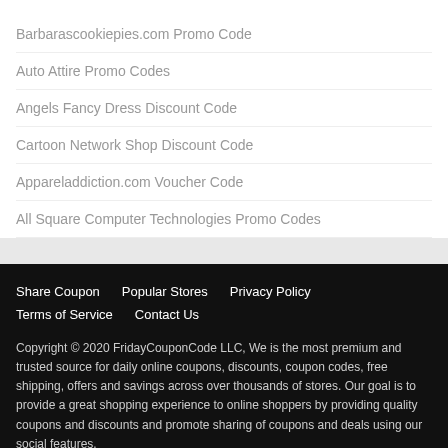Barbarascookiepies.com Promo Code
Auto Attire Promo Codes
Angels Fancy Dress Discount Code
Cartoon Network Shop Discount Code
Appareladdiction.com Voucher Code
All Square Computer Technologies Promo Codes
Share Coupon   Popular Stores   Privacy Policy   Terms of Service   Contact Us

Copyright © 2020 FridayCouponCode LLC, We is the most premium and trusted source for daily online coupons, discounts, coupon codes, free shipping, offers and savings across over thousands of stores. Our goal is to provide a great shopping experience to online shoppers by providing quality coupons and discounts and promote sharing of coupons and deals using our social features.